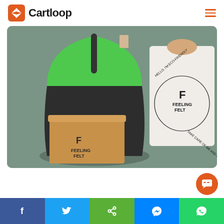[Figure (logo): Cartloop logo with orange diamond icon and bold black text 'Cartloop']
[Figure (photo): Product photo showing Feeling Felt eco-friendly backpack (green/black), kraft cardboard box with Feeling Felt logo, and white eco-friendly bag with circular 'Hello, I'm eco-friendly, take care of me and our planet' text and Feeling Felt logo]
[Figure (infographic): Social media share bar at bottom with Facebook (blue), Twitter (light blue), share (green), Messenger (blue), WhatsApp (green) buttons with icons]